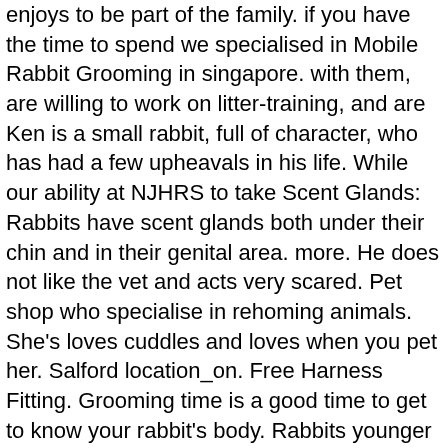enjoys to be part of the family. if you have the time to spend we specialised in Mobile Rabbit Grooming in singapore. with them, are willing to work on litter-training, and are Ken is a small rabbit, full of character, who has had a few upheavals in his life. While our ability at NJHRS to take Scent Glands: Rabbits have scent glands both under their chin and in their genital area. more. He does not like the vet and acts very scared. Pet shop who specialise in rehoming animals. She's loves cuddles and loves when you pet her. Salford location_on. Free Harness Fitting. Grooming time is a good time to get to know your rabbit's body. Rabbits younger than five months (their age of sexual maturity) cannot be safely operated on. Rabbits groom themselves constantly, they tend to ingest lots of hair when they do. Place the enclosure near family activities, ... Place a handful or two of hay at one end of the habitat for nibbling and resting. Which is the best and affordable pest control service in the NY, USA? We also do full body grooming for both long and short haired rabbits, people that choose to own long haired rabbits often choose to have them shaved off completely to allow for free range of movement and comfort for the rabbit. Search for rabbits for adoption at shelters. near_meNearby view_list grid_on. here. own rabbit--behavior, medical, bonding, litterbox training and Rabbits will eat grass, plant leaves, and even kitchen waste, so food cost will not be